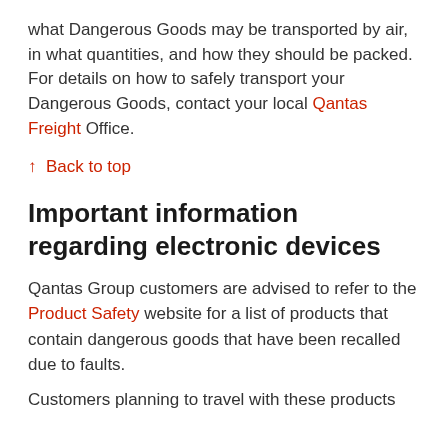what Dangerous Goods may be transported by air, in what quantities, and how they should be packed. For details on how to safely transport your Dangerous Goods, contact your local Qantas Freight Office.
↑ Back to top
Important information regarding electronic devices
Qantas Group customers are advised to refer to the Product Safety website for a list of products that contain dangerous goods that have been recalled due to faults.
Customers planning to travel with these products